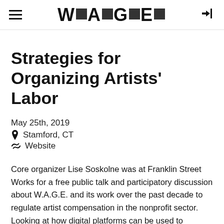W▪A▪G▪E▪
Strategies for Organizing Artists' Labor
May 25th, 2019
📍 Stamford, CT
🔗 Website
Core organizer Lise Soskolne was at Franklin Street Works for a free public talk and participatory discussion about W.A.G.E. and its work over the past decade to regulate artist compensation in the nonprofit sector. Looking at how digital platforms can be used to organize creative workers, and how class stratification and